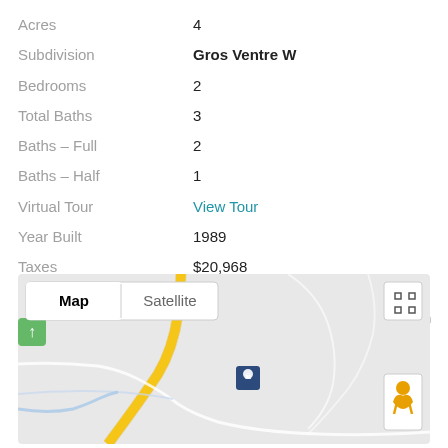| Field | Value |
| --- | --- |
| Acres | 4 |
| Subdivision | Gros Ventre W |
| Bedrooms | 2 |
| Total Baths | 3 |
| Baths - Full | 2 |
| Baths - Half | 1 |
| Virtual Tour | View Tour |
| Year Built | 1989 |
| Taxes | $20,968 |
| View | Glory Bowl,Grand Teton View,Mountain View,Scenic,Teton View,Valley View |
[Figure (map): Google Map showing property location with Map/Satellite toggle, fullscreen button, street view person icon, and a location marker pin near the center of the map.]